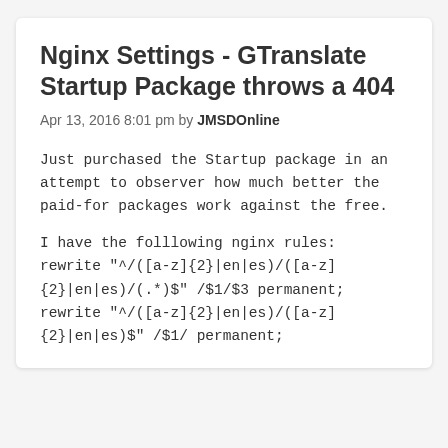Nginx Settings - GTranslate Startup Package throws a 404
Apr 13, 2016 8:01 pm by JMSDOnline
Just purchased the Startup package in an attempt to observer how much better the paid-for packages work against the free.
I have the folllowing nginx rules:
rewrite "^/([a-z]{2}|en|es)/([a-z]{2}|en|es)/(.*)$" /$1/$3 permanent;
rewrite "^/([a-z]{2}|en|es)/([a-z]{2}|en|es)$" /$1/ permanent;